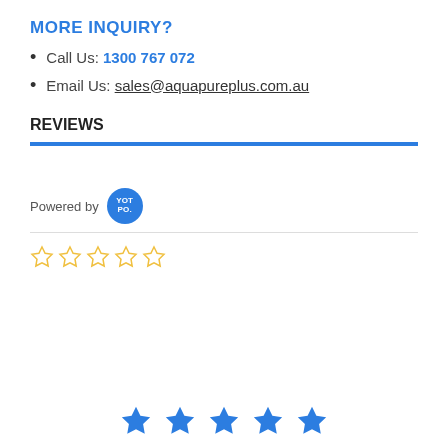MORE INQUIRY?
Call Us: 1300 767 072
Email Us: sales@aquapureplus.com.au
REVIEWS
Powered by YOTPO
[Figure (other): Five empty star rating icons in gold/yellow outline]
[Figure (other): Five solid blue star icons at the bottom of the page]